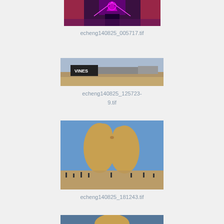[Figure (photo): Partial top of photo showing colorful neon/pink lit stage or art installation at night with red drapes]
echeng140825_005717.tif
[Figure (photo): Panoramic daytime photo of a camp called VINES at Burning Man, showing trailers and trucks in desert]
echeng140825_125723-9.tif
[Figure (photo): Two large golden/tan sculpted human figures facing each other and kissing, surrounded by people and bikes in a desert setting under blue sky]
echeng140825_181243.tif
[Figure (photo): Partial bottom photo, cropped, showing beginning of another image]